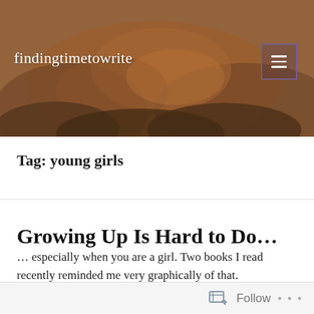findingtimetowrite
Tag: young girls
Growing Up Is Hard to Do...
… especially when you are a girl. Two books I read recently reminded me very graphically of that.
At first glance, they couldn't be more different.
Follow